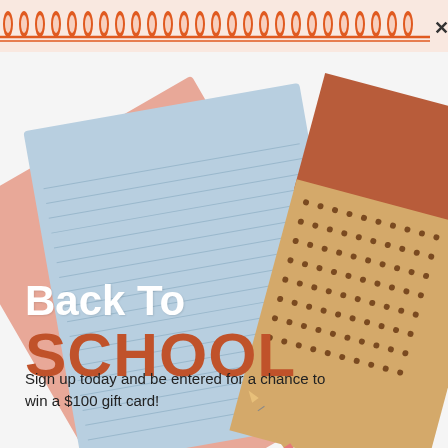[Figure (illustration): Spiral notebook header with orange coil binding along the top, peach/salmon background, with an X close button at top right]
[Figure (photo): Back to school notebooks fanned out — light blue lined notebook, salmon/peach notebook, kraft paper dotted notebook with terracotta cover, pencil visible, on white background]
Back To SCHOOL
Sign up today and be entered for a chance to win a $100 gift card!